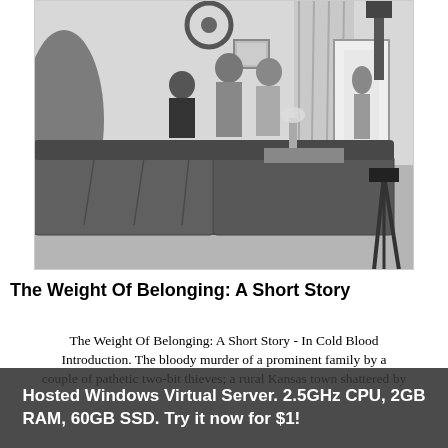[Figure (photo): Black and white photograph of a film or TV production crew setting up a scene in a living room. A large sofa dominates the foreground. Several people including crew members are visible in the background near equipment and lighting. The room has curtains, a lamp, and a doorway visible.]
The Weight Of Belonging: A Short Story
The Weight Of Belonging: A Short Story - In Cold Blood Introduction. The bloody murder of a prominent family by a couple of pathetic two-bit thieves; a rural Kansas town shattered by
Hosted Windows Virtual Server. 2.5GHz CPU, 2GB RAM, 60GB SSD. Try it now for $1!
who rats out the killers; the long walk to the gallows and execution